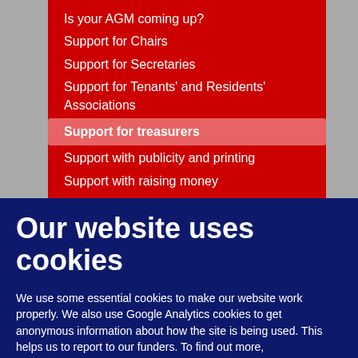Is your AGM coming up?
Support for Chairs
Support for Secretaries
Support for Tenants' and Residents' Associations
Support for treasurers
Support with publicity and printing
Support with raising money
Support for Resource Centre Member
Our website uses cookies
We use some essential cookies to make our website work properly. We also use Google Analytics cookies to get anonymous information about how the site is being used. This helps us to report to our funders. To find out more, see  our Privacy notice for website users.